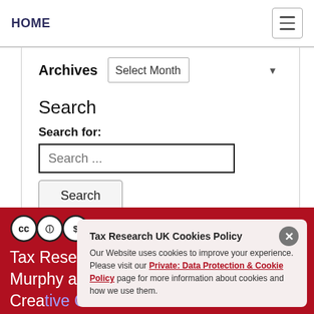HOME
Archives
Search
Search for:
Tax Research UK Cookies Policy
Our Website uses cookies to improve your experience. Please visit our Private: Data Protection & Cookie Policy page for more information about cookies and how we use them.
Tax [Research UK] is written by Richard Mur[phy and] pub[lished ...] Crea[tive Commons Attribution...]